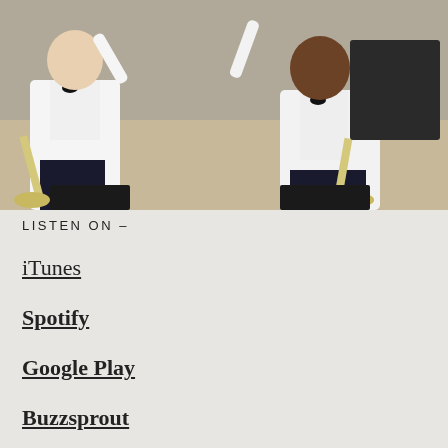[Figure (photo): Two men in white tuxedo jackets and bow ties sitting and holding silver trumpets, appearing to be laughing and celebrating.]
LISTEN ON –
iTunes
Spotify
Google Play
Buzzsprout